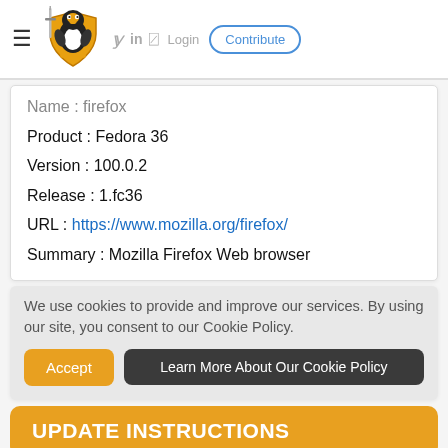≡ [Linux Security logo] 𝕏 in )) Login  Contribute
Name : firefox
Product : Fedora 36
Version : 100.0.2
Release : 1.fc36
URL : https://www.mozilla.org/firefox/
Summary : Mozilla Firefox Web browser
We use cookies to provide and improve our services. By using our site, you consent to our Cookie Policy.
Accept | Learn More About Our Cookie Policy
UPDATE INSTRUCTIONS